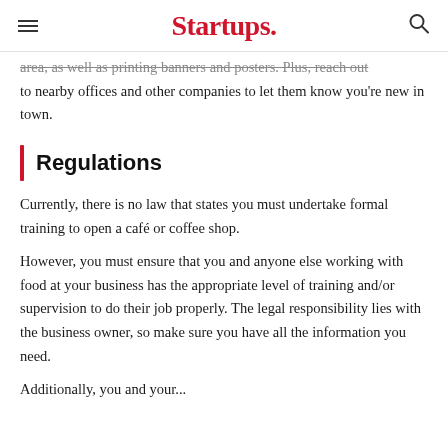Startups.
area, as well as printing banners and posters. Plus, reach out to nearby offices and other companies to let them know you're new in town.
Regulations
Currently, there is no law that states you must undertake formal training to open a café or coffee shop.
However, you must ensure that you and anyone else working with food at your business has the appropriate level of training and/or supervision to do their job properly. The legal responsibility lies with the business owner, so make sure you have all the information you need.
Additionally, you and your team in charge of food...